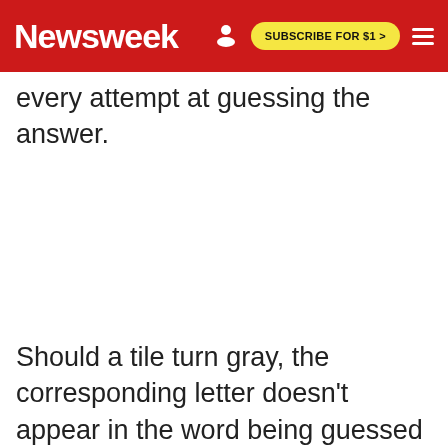Newsweek  SUBSCRIBE FOR $1 >
every attempt at guessing the answer.
Should a tile turn gray, the corresponding letter doesn't appear in the word being guessed